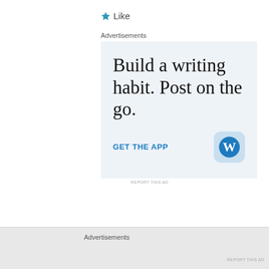Like
Advertisements
[Figure (screenshot): WordPress app advertisement: 'Build a writing habit. Post on the go.' with 'GET THE APP' link and WordPress logo icon on light blue background]
REPORT THIS AD
Advertisements
REPORT THIS AD